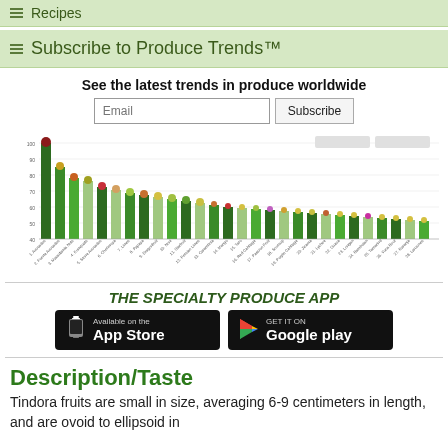Recipes
Subscribe to Produce Trends™
See the latest trends in produce worldwide
[Figure (bar-chart): Bar chart showing produce trends worldwide with many categories along x-axis, bars of decreasing height from left to right, with fruit/vegetable icons atop each bar]
THE SPECIALTY PRODUCE APP
[Figure (logo): Available on the App Store button (black)]
[Figure (logo): Get it on Google Play button (black)]
Description/Taste
Tindora fruits are small in size, averaging 6-9 centimeters in length, and are ovoid to ellipsoid in